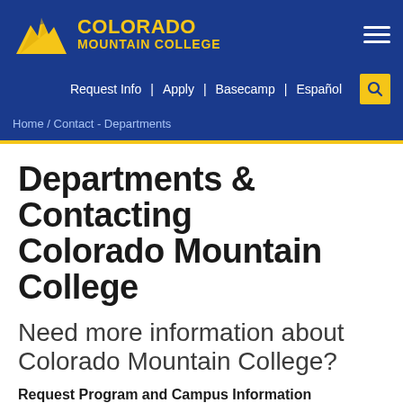[Figure (logo): Colorado Mountain College logo with golden eagle/mountain shape and college name in yellow on blue background]
Request Info | Apply | Basecamp | Español
Home / Contact - Departments
Departments & Contacting Colorado Mountain College
Need more information about Colorado Mountain College?
Request Program and Campus Information
Please use our form and we'll send you everything